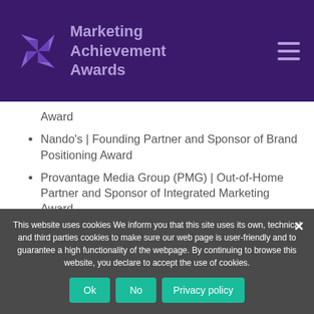Marketing Achievement Awards
Award
Nando's | Founding Partner and Sponsor of Brand Positioning Award
Provantage Media Group (PMG) | Out-of-Home Partner and Sponsor of Integrated Marketing Award
Accenture Interactive | Sponsor of the
This website uses cookies We inform you that this site uses its own, technical and third parties cookies to make sure our web page is user-friendly and to guarantee a high functionality of the webpage. By continuing to browse this website, you declare to accept the use of cookies.
Ok  No  Privacy policy